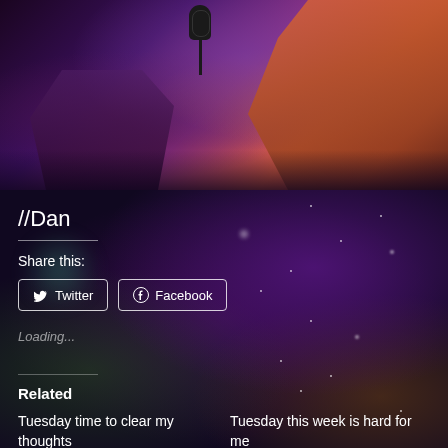[Figure (photo): Studio photo showing a person at a microphone in purple/orange lighting, another person visible on the right side]
//Dan
Share this:
Twitter
Facebook
Loading...
Related
Tuesday time to clear my thoughts
Tuesday this week is hard for me